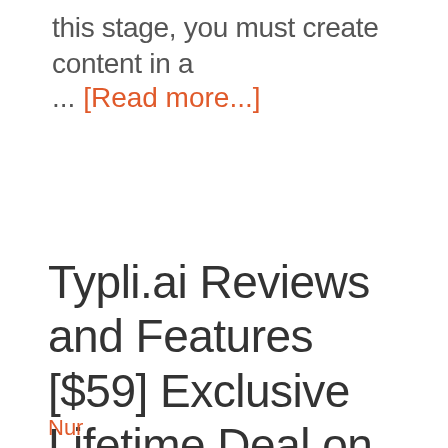this stage, you must create content in a
... [Read more...]
Typli.ai Reviews and Features [$59] Exclusive Lifetime Deal on Appsumo.
Nur